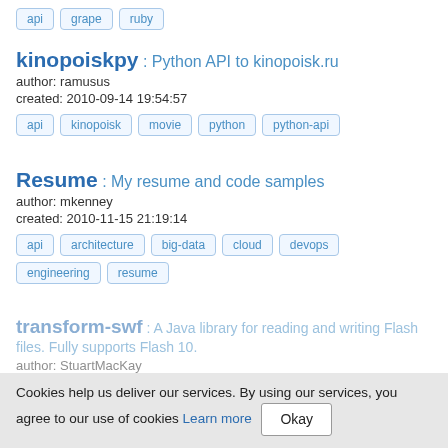api   grape   ruby
kinopoiskpy : Python API to kinopoisk.ru
author: ramusus
created: 2010-09-14 19:54:57
api   kinopoisk   movie   python   python-api
Resume : My resume and code samples
author: mkenney
created: 2010-11-15 21:19:14
api   architecture   big-data   cloud   devops
engineering   resume
transform-swf : A Java library for reading and writing Flash files. Fully supports Flash 10.
author: StuartMacKay
Cookies help us deliver our services. By using our services, you agree to our use of cookies Learn more  Okay